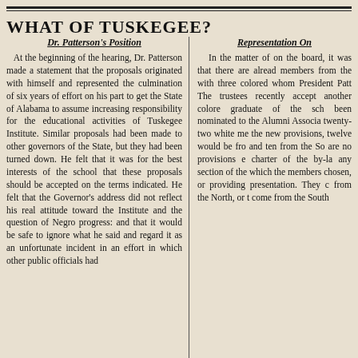WHAT OF TUSKEGEE?
Dr. Patterson's Position
At the beginning of the hearing, Dr. Patterson made a statement that the proposals originated with himself and represented the culmination of six years of effort on his part to get the State of Alabama to assume increasing responsibility for the educational activities of Tuskegee Institute. Similar proposals had been made to other governors of the State, but they had been turned down. He felt that it was for the best interests of the school that these proposals should be accepted on the terms indicated. He felt that the Governor's address did not reflect his real attitude toward the Institute and the question of Negro progress: and that it would be safe to ignore what he said and regard it as an unfortunate incident in an effort in which other public officials had
Representation On
In the matter of on the board, it was that there are alread members from the with three colored whom President Patt The trustees recently accept another colore graduate of the sch been nominated to the Alumni Associa twenty-two white me the new provisions, twelve would be fro and ten from the So are no provisions e charter of the by-la any section of the which the members chosen, or providing presentation. They c from the North, or t come from the South